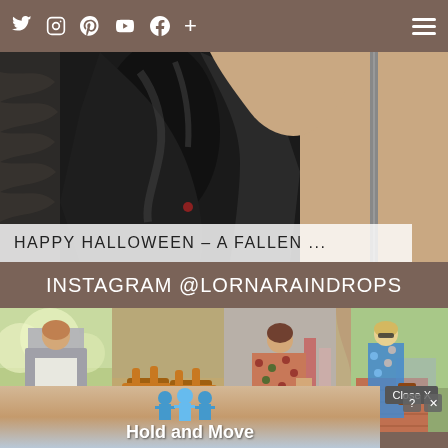Social media icons: Twitter, Instagram, Pinterest, YouTube, Facebook, Plus | Hamburger menu
[Figure (photo): Woman in shiny black outfit, partial torso view, dark feathered/leather clothing]
HAPPY HALLOWEEN – A FALLEN ...
INSTAGRAM @lornaraindrops
[Figure (photo): Instagram grid: 4 photos - woman in gray coat and skirt with boots outdoors; sandals on sandy ground; woman in floral dress holding shopping bag; woman in blue floral dress in garden]
© 2022 RAINDROPS OF SAPPHIRE - PRIVACY ...
[Figure (screenshot): Advertisement banner: Hold and Move app ad with cartoon figures, question mark and X close buttons, Close X button overlay]